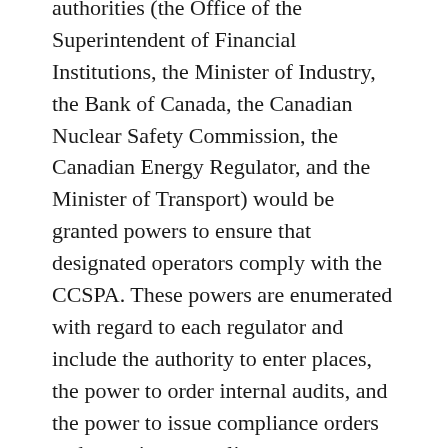authorities (the Office of the Superintendent of Financial Institutions, the Minister of Industry, the Bank of Canada, the Canadian Nuclear Safety Commission, the Canadian Energy Regulator, and the Minister of Transport) would be granted powers to ensure that designated operators comply with the CCSPA. These powers are enumerated with regard to each regulator and include the authority to enter places, the power to order internal audits, and the power to issue compliance orders and enter into compliance agreements.
Critically, each of these regulatory authorities would also be able to issue administrative monetary penalties of up to $15,000,000 for each violation of the CCSPA. A due diligence defence would be available to any